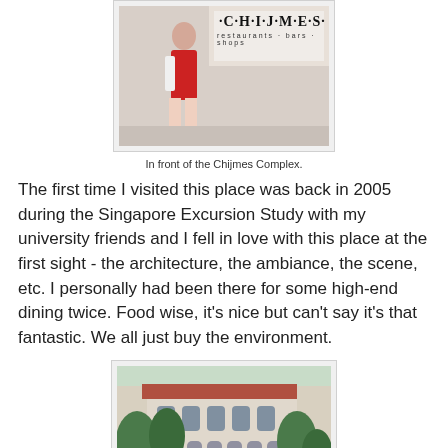[Figure (photo): Photo of a person in a red dress standing in front of the Chijmes Complex sign which reads 'CH·I·J·M·E·S restaurants · bars · shops']
In front of the Chijmes Complex.
The first time I visited this place was back in 2005 during the Singapore Excursion Study with my university friends and I fell in love with this place at the first sight - the architecture, the ambiance, the scene, etc. I personally had been there for some high-end dining twice. Food wise, it's nice but can't say it's that fantastic. We all just buy the environment.
[Figure (photo): Exterior photo of the Chijmes Complex building showing colonial architecture with arches, trees, and outdoor dining area]